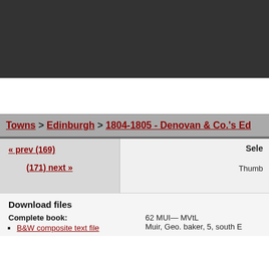Towns > Edinburgh > 1804-1805 - Denovan & Co.'s Ed...
‹‹‹ prev (169)
(171) next ›››
Sele... Thumb...
Download files
Complete book:
B&W composite text file
62 MUI— MVtL
Muir, Geo. baker, 5, south E...